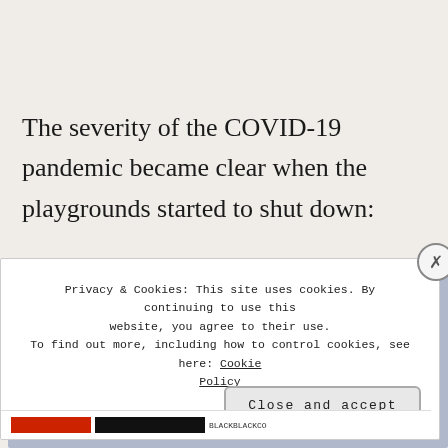The severity of the COVID-19 pandemic became clear when the playgrounds started to shut down:
[Figure (screenshot): Cookie consent overlay popup on a website. Contains privacy and cookies notice text, a Cookie Policy link, a close X button, and a 'Close and accept' button. Below is partially visible content with red and black bars.]